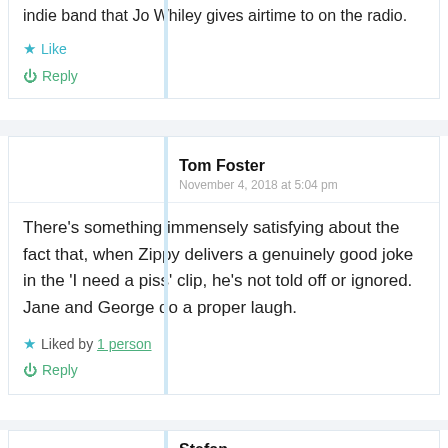indie band that Jo Whiley gives airtime to on the radio.
Like
Reply
Tom Foster
November 4, 2018 at 5:04 pm
There's something immensely satisfying about the fact that, when Zippy delivers a genuinely good joke in the 'I need a piss' clip, he's not told off or ignored. Jane and George do a proper laugh.
Liked by 1 person
Reply
Stefan